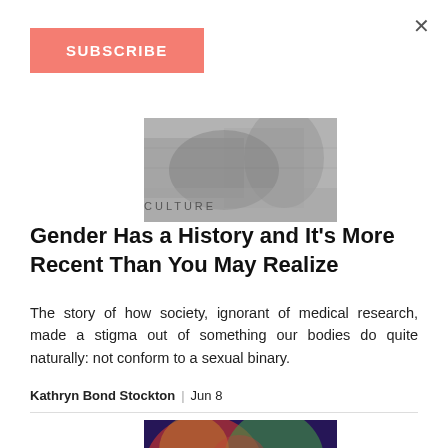×
SUBSCRIBE
[Figure (photo): Grayscale photographic image]
CULTURE
Gender Has a History and It's More Recent Than You May Realize
The story of how society, ignorant of medical research, made a stigma out of something our bodies do quite naturally: not conform to a sexual binary.
Kathryn Bond Stockton | Jun 8
[Figure (photo): Colorful abstract or artistic image]